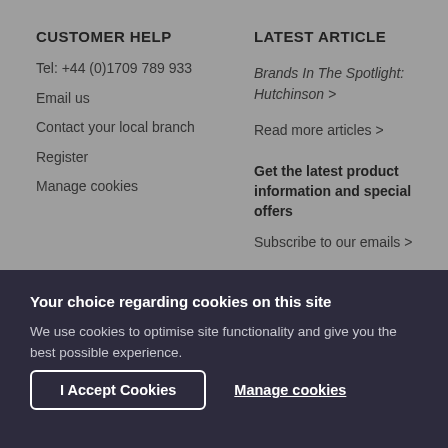CUSTOMER HELP
Tel: +44 (0)1709 789 933
Email us
Contact your local branch
Register
Manage cookies
LATEST ARTICLE
Brands In The Spotlight: Hutchinson >
Read more articles >
Get the latest product information and special offers
Subscribe to our emails >
Your choice regarding cookies on this site
We use cookies to optimise site functionality and give you the best possible experience.
I Accept Cookies
Manage cookies